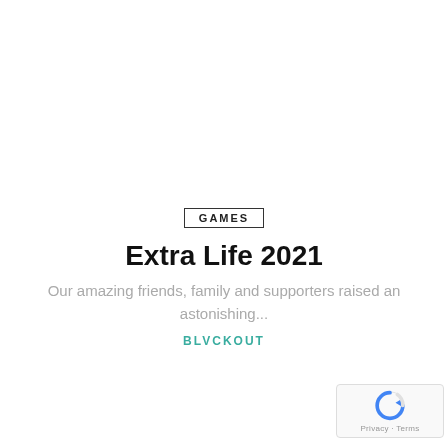GAMES
Extra Life 2021
Our amazing friends, family and supporters raised an astonishing...
BLVCKOUT
[Figure (logo): reCAPTCHA badge with spinning arrow logo and Privacy - Terms links]